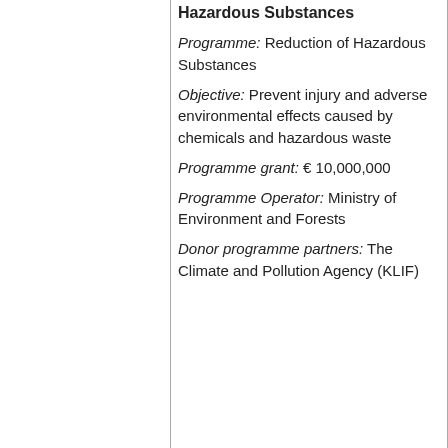Hazardous Substances
Programme: Reduction of Hazardous Substances
Objective: Prevent injury and adverse environmental effects caused by chemicals and hazardous waste
Programme grant: € 10,000,000
Programme Operator: Ministry of Environment and Forests
Donor programme partners: The Climate and Pollution Agency (KLIF)